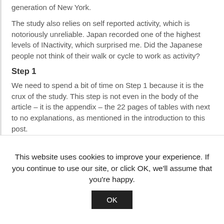generation of New York.
The study also relies on self reported activity, which is notoriously unreliable. Japan recorded one of the highest levels of INactivity, which surprised me. Did the Japanese people not think of their walk or cycle to work as activity?
Step 1
We need to spend a bit of time on Step 1 because it is the crux of the study. This step is not even in the body of the article – it is the appendix – the 22 pages of tables with next to no explanations, as mentioned in the introduction to this post.
This website uses cookies to improve your experience. If you continue to use our site, or click OK, we'll assume that you're happy.